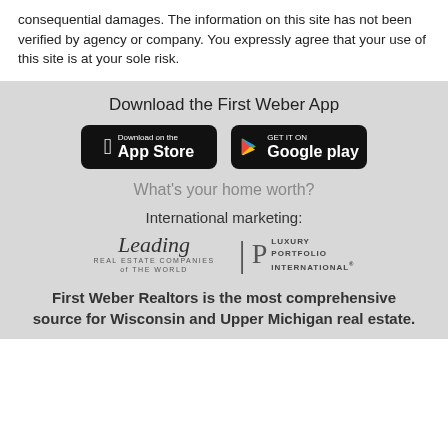consequential damages. The information on this site has not been verified by agency or company. You expressly agree that your use of this site is at your sole risk.
Download the First Weber App
[Figure (other): App Store and Google Play download buttons for First Weber App]
What's your home worth?
International marketing:
[Figure (logo): Leading Real Estate Companies of the World logo and Luxury Portfolio International logo]
First Weber Realtors is the most comprehensive source for Wisconsin and Upper Michigan real estate.